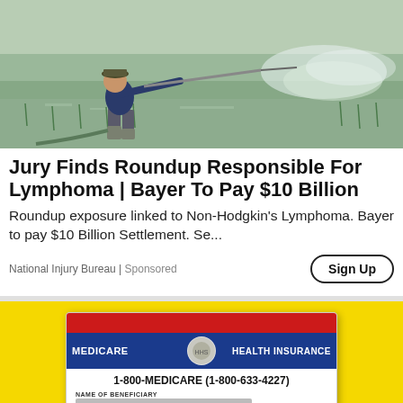[Figure (photo): Person spraying pesticide in a flooded rice field, wearing boots and holding a spray wand]
Jury Finds Roundup Responsible For Lymphoma | Bayer To Pay $10 Billion
Roundup exposure linked to Non-Hodgkin's Lymphoma. Bayer to pay $10 Billion Settlement. Se...
National Injury Bureau | Sponsored
[Figure (photo): Medicare Health Insurance card showing 1-800-MEDICARE (1-800-633-4227), with redacted beneficiary name and Medicare claim number, on yellow background]